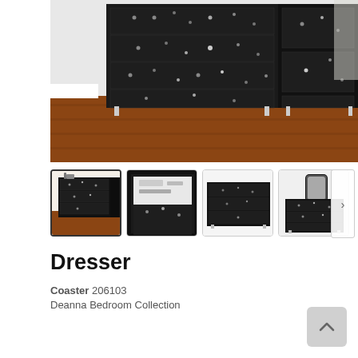[Figure (photo): Main product photo of a black upholstered dresser with crystal/rhinestone stud accents on drawer fronts, sitting on hardwood floor. Close-up angle showing drawer fronts with decorative studs and chrome legs.]
[Figure (photo): Thumbnail 1 (active/selected): Black dresser with decorative studs, side angle showing accessory on top, hardwood floor.]
[Figure (photo): Thumbnail 2: Close-up of open dresser drawer showing interior and crystal stud detail.]
[Figure (photo): Thumbnail 3: Front-facing view of black dresser, plain background.]
[Figure (photo): Thumbnail 4: Black dresser shown with matching mirror in a bedroom setting.]
Dresser
Coaster 206103
Deanna Bedroom Collection